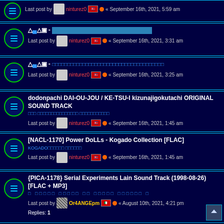Last post by ninturez0 « September 16th, 2021, 5:59 am
△▄△▣ - [blocked] Last post by ninturez0 « September 16th, 2021, 3:31 am
△▄△▣ - [blocked title] Last post by ninturez0 « September 16th, 2021, 3:25 am
dodonpachi DAI-OU-JOU / KE-TSU-I kizunajigokutachi ORIGINAL SOUND TRACK Last post by ninturez0 « September 16th, 2021, 1:45 am
[NACL-1170] Power DoLLs - Kogado Collection [FLAC] KOGADO[blocked] [blocked] Last post by ninturez0 « September 16th, 2021, 1:45 am
{PICA-1178} Serial Experiments Lain Sound Track (1998-08-26) [FLAC + MP3] [blocked text] Last post by Or4ANGEpm « August 10th, 2021, 4:21 pm Replies: 1
{PICA-1179} 1998.10.21 - serial experiments lain sound track cyberia mix [FLAC + MP3 320] [blocked subtitle]